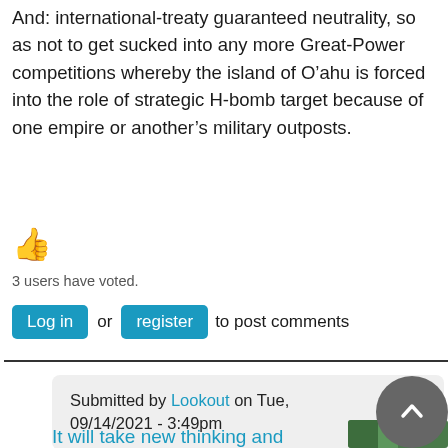And: international-treaty guaranteed neutrality, so as not to get sucked into any more Great-Power competitions whereby the island of O’ahu is forced into the role of strategic H-bomb target because of one empire or another’s military outposts.
[Figure (illustration): Thumbs up emoji icon in orange/golden color]
3 users have voted.
Log in or register to post comments
Submitted by Lookout on Tue, 09/14/2021 - 3:49pm
It will take new thinking and partnerships